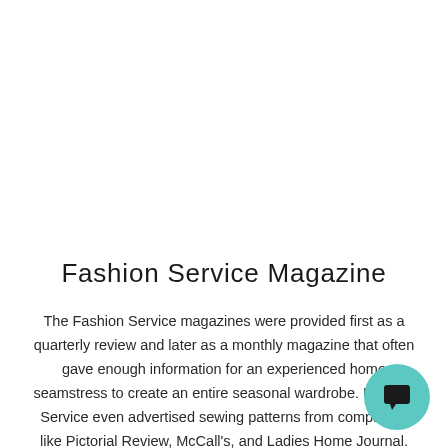Fashion Service Magazine
The Fashion Service magazines were provided first as a quarterly review and later as a monthly magazine that often gave enough information for an experienced home seamstress to create an entire seasonal wardrobe. Fashion Service even advertised sewing patterns from companies like Pictorial Review, McCall's, and Ladies Home Journal.